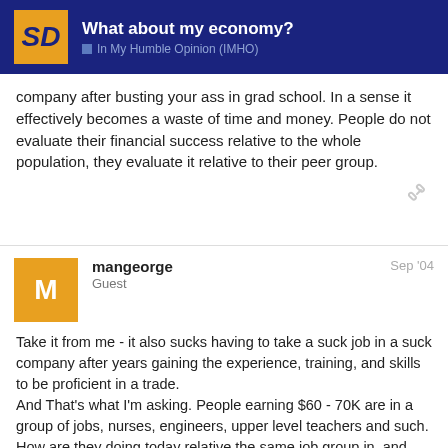What about my economy? — In My Humble Opinion (IMHO)
company after busting your ass in grad school. In a sense it effectively becomes a waste of time and money. People do not evaluate their financial success relative to the whole population, they evaluate it relative to their peer group.
mangeorge
Guest
Sep '04
Take it from me - it also sucks having to take a suck job in a suck company after years gaining the experience, training, and skills to be proficient in a trade.
And That's what I'm asking. People earning $60 - 70K are in a group of jobs, nurses, engineers, upper level teachers and such. How are they doing today relative the same job group in, and during, the pre-Clinton era? Is it harder now being a minimum wage earner that it was 12 years ago? Or six? Poverty is worse they say.